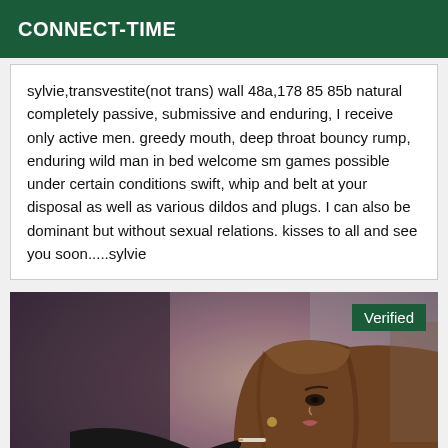CONNECT-TIME
sylvie,transvestite(not trans) wall 48a,178 85 85b natural completely passive, submissive and enduring, I receive only active men. greedy mouth, deep throat bouncy rump, enduring wild man in bed welcome sm games possible under certain conditions swift, whip and belt at your disposal as well as various dildos and plugs. I can also be dominant but without sexual relations. kisses to all and see you soon.....sylvie
[Figure (photo): Woman with long wavy brown hair, wearing dark gloves, holding a cigarette, side profile view. Green 'Verified' badge in top right corner.]